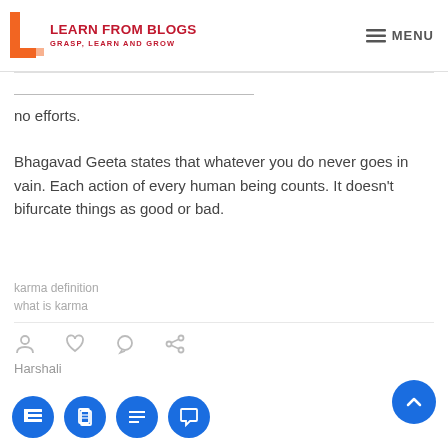LEARN FROM BLOGS / GRASP, LEARN AND GROW | MENU
no efforts.
Bhagavad Geeta states that whatever you do never goes in vain. Each action of every human being counts. It doesn't bifurcate things as good or bad.
karma definition
what is karma
Harshali